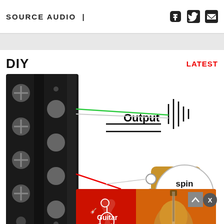SOURCE AUDIO |
DIY
LATEST
[Figure (schematic): Guitar pickup wiring diagram showing a humbucker pickup on the left with Output label and colored wires (green, white, red) leading to a coil-tap configuration labeled 'spin a split' on the right side.]
[Figure (photo): Guitar Center advertisement banner with logo, acoustic guitar image, and 'Shop Now' red button.]
Mod...
8 Thi...
A Walking Bass Crash Course